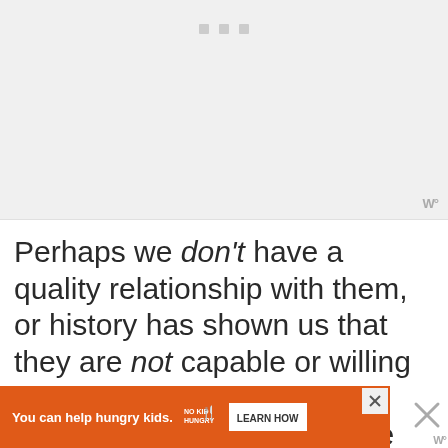[Figure (other): Gray image placeholder area with three small gray square dots/icons near the top center, and a 'W°' watermark logo in the bottom right corner]
Perhaps we don't have a quality relationship with them, or history has shown us that they are not capable or willing to provide empathy and understanding in the way we need.
[Figure (other): Orange advertisement banner: 'You can help hungry kids.' with No Kid Hungry logo and 'LEARN HOW' button, with close X button and W° logo]